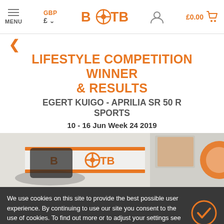BOTB navigation bar with MENU, GBP currency, BOTB logo, account icon, £0.00 cart
‹ (back arrow)
LIFESTYLE COMPETITION WINNER & RESULTS
EGERT KUIGO - APRILIA SR 50 R SPORTS
10 - 16 Jun Week 24 2019
[Figure (photo): Photo of a scooter/motorcycle with BOTB branding banner in the background, showing the Aprilia SR 50 R Sports competition prize]
We use cookies on this site to provide the best possible user experience. By continuing to use our site you consent to the use of cookies. To find out more or to adjust your settings see our Cookie Policy.